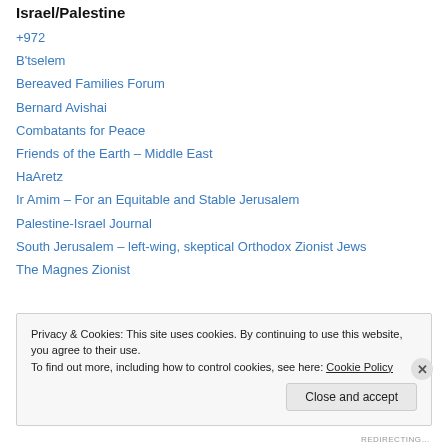Israel/Palestine
+972
B'tselem
Bereaved Families Forum
Bernard Avishai
Combatants for Peace
Friends of the Earth – Middle East
HaAretz
Ir Amim – For an Equitable and Stable Jerusalem
Palestine-Israel Journal
South Jerusalem – left-wing, skeptical Orthodox Zionist Jews
The Magnes Zionist
Privacy & Cookies: This site uses cookies. By continuing to use this website, you agree to their use. To find out more, including how to control cookies, see here: Cookie Policy
Close and accept